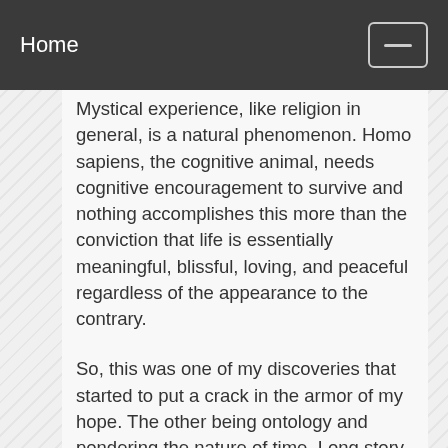Home
Mystical experience, like religion in general, is a natural phenomenon. Homo sapiens, the cognitive animal, needs cognitive encouragement to survive and nothing accomplishes this more than the conviction that life is essentially meaningful, blissful, loving, and peaceful regardless of the appearance to the contrary.
So, this was one of my discoveries that started to put a crack in the armor of my hope. The other being ontology and pondering the nature of time. Long story short, I kept coming up against what I now call the "impenetrable impasse of ontology." Every philosophy, religion, and even branches of science (physics, cosmology) eventually reaches this impasse.
In short, we cannot account for the existence of anything without providing for the existence of something that is timeless, eternal, or outside of time; something that is uncaused. This can be conceptualized as an eternally preexistent static